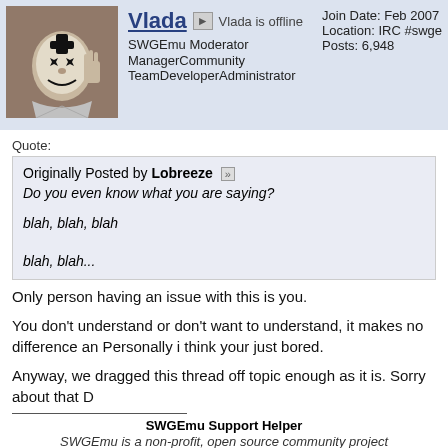Vlada | SWGEmu Moderator | ManagerCommunity TeamDeveloperAdministrator | Join Date: Feb 2007 | Location: IRC #swge | Posts: 6,948
Quote:
Originally Posted by Lobreeze
Do you even know what you are saying?
blah, blah, blah
blah, blah...
Only person having an issue with this is you.
You don't understand or don't want to understand, it makes no difference an Personally i think your just bored.
Anyway, we dragged this thread off topic enough as it is. Sorry about that D
SWGEmu Support Helper
SWGEmu is a non-profit, open source community project
SWGEmu OR Project Status List... New Community Member FAQ... Bug Tracker... install SWGEmu...